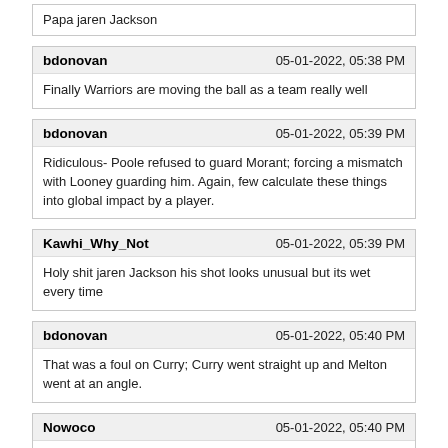Papa jaren Jackson
bdonovan | 05-01-2022, 05:38 PM
Finally Warriors are moving the ball as a team really well
bdonovan | 05-01-2022, 05:39 PM
Ridiculous- Poole refused to guard Morant; forcing a mismatch with Looney guarding him. Again, few calculate these things into global impact by a player.
Kawhi_Why_Not | 05-01-2022, 05:39 PM
Holy shit jaren Jackson his shot looks unusual but its wet every time
bdonovan | 05-01-2022, 05:40 PM
That was a foul on Curry; Curry went straight up and Melton went at an angle.
Nowoco | 05-01-2022, 05:40 PM
The guy saying Memphis fans are ugly was dead right. They also dress like shit too.
AlternativeAcc. | 05-01-2022, 05:47 PM
Ridiculous- Poole refused to guard Morant; forcing a mismatch with Looney guarding him. Again, few calculate these things into global impact by a player.
Poole > Curry on both ends